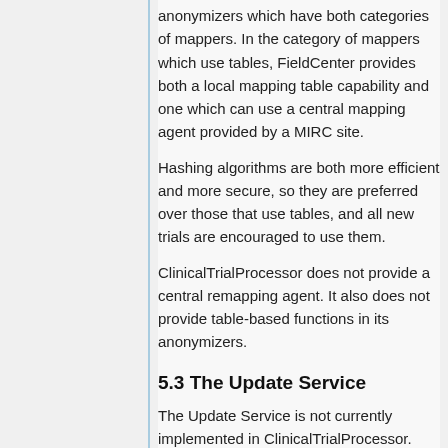anonymizers which have both categories of mappers. In the category of mappers which use tables, FieldCenter provides both a local mapping table capability and one which can use a central mapping agent provided by a MIRC site.
Hashing algorithms are both more efficient and more secure, so they are preferred over those that use tables, and all new trials are encouraged to use them.
ClinicalTrialProcessor does not provide a central remapping agent. It also does not provide table-based functions in its anonymizers.
5.3 The Update Service
The Update Service is not currently implemented in ClinicalTrialProcessor. One of the main motivations for the...